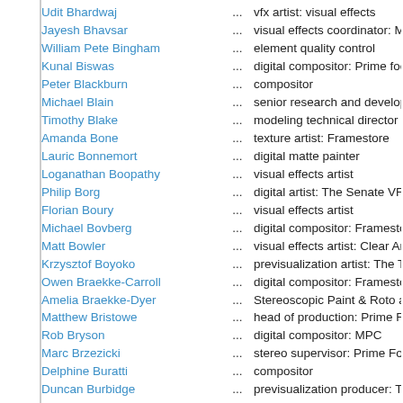Udit Bhardwaj ... vfx artist: visual effects
Jayesh Bhavsar ... visual effects coordinator: MPC
William Pete Bingham ... element quality control
Kunal Biswas ... digital compositor: Prime focus world
Peter Blackburn ... compositor
Michael Blain ... senior research and development engineer
Timothy Blake ... modeling technical director (as Tim Blake)
Amanda Bone ... texture artist: Framestore
Lauric Bonnemort ... digital matte painter
Loganathan Boopathy ... visual effects artist
Philip Borg ... digital artist: The Senate VFX
Florian Boury ... visual effects artist
Michael Bovberg ... digital compositor: Framestore
Matt Bowler ... visual effects artist: Clear Angle Studios
Krzysztof Boyoko ... previsualization artist: The Third Floor
Owen Braekke-Carroll ... digital compositor: Framestore (as Owen...)
Amelia Braekke-Dyer ... Stereoscopic Paint & Roto at Framestore
Matthew Bristowe ... head of production: Prime Focus World
Rob Bryson ... digital compositor: MPC
Marc Brzezicki ... stereo supervisor: Prime Focus
Delphine Buratti ... compositor
Duncan Burbidge ... previsualization producer: The Third Floor
James Burr ... previsualization artist: The Third Floor
Henry Bush ... pipeline technical director